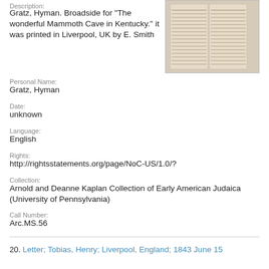Description:
Gratz, Hyman. Broadside for "The wonderful Mammoth Cave in Kentucky." it was printed in Liverpool, UK by E. Smith
[Figure (photo): Photograph of a printed broadside document, appearing as yellowed/aged paper with columns of text]
Personal Name:
Gratz, Hyman
Date:
unknown
Language:
English
Rights:
http://rightsstatements.org/page/NoC-US/1.0/?
Collection:
Arnold and Deanne Kaplan Collection of Early American Judaica (University of Pennsylvania)
Call Number:
Arc.MS.56
20. Letter; Tobias, Henry; Liverpool, England; 1843 June 15